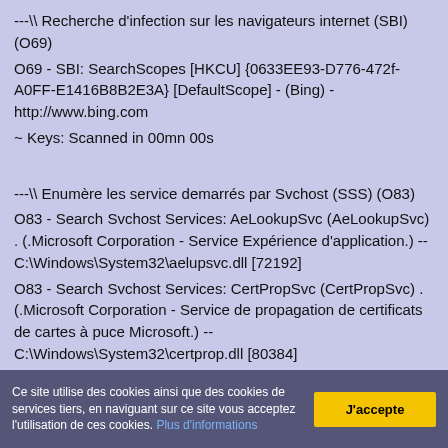---\ Recherche d'infection sur les navigateurs internet (SBI) (O69)
O69 - SBI: SearchScopes [HKCU] {0633EE93-D776-472f-A0FF-E1416B8B2E3A} [DefaultScope] - (Bing) - http://www.bing.com
~ Keys: Scanned in 00mn 00s
---\ Enumère les service demarrés par Svchost (SSS) (O83)
O83 - Search Svchost Services: AeLookupSvc (AeLookupSvc) . (.Microsoft Corporation - Service Expérience d'application.) -- C:\Windows\System32\aelupsvc.dll [72192]
O83 - Search Svchost Services: CertPropSvc (CertPropSvc) . (.Microsoft Corporation - Service de propagation de certificats de cartes à puce Microsoft.) -- C:\Windows\System32\certprop.dll [80384]
O83 - Search Svchost Services: SCPolicySvc (SCPolicySvc) . (.Microsoft Corporation - Service de propagation de certificats
Ce site utilise des cookies ainsi que des cookies de services tiers, en naviguant sur ce site vous acceptez l'utilisation de ces cookies. Plus d'informations